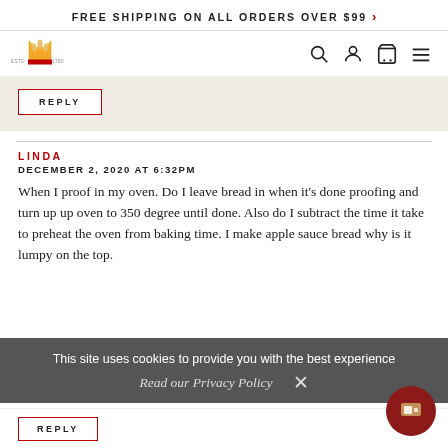FREE SHIPPING ON ALL ORDERS OVER $99 >
[Figure (logo): Bakery brand logo with crown and wheat design, ESTD 1750 text]
REPLY
LINDA
DECEMBER 2, 2020 AT 6:32PM
When I proof in my oven. Do I leave bread in when it's done proofing and turn up up oven to 350 degree until done. Also do I subtract the time it take to preheat the oven from baking time. I make apple sauce bread why is it lumpy on the top.
This site uses cookies to provide you with the best experience
Read our Privacy Policy
REPLY